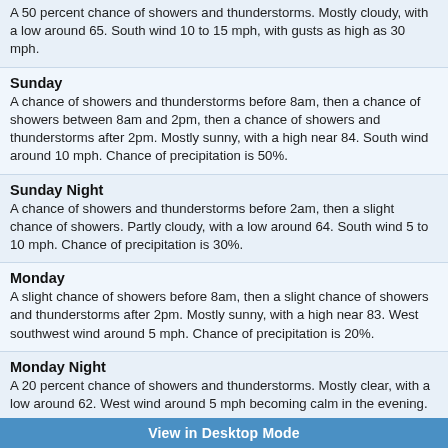A 50 percent chance of showers and thunderstorms. Mostly cloudy, with a low around 65. South wind 10 to 15 mph, with gusts as high as 30 mph.
Sunday
A chance of showers and thunderstorms before 8am, then a chance of showers between 8am and 2pm, then a chance of showers and thunderstorms after 2pm. Mostly sunny, with a high near 84. South wind around 10 mph. Chance of precipitation is 50%.
Sunday Night
A chance of showers and thunderstorms before 2am, then a slight chance of showers. Partly cloudy, with a low around 64. South wind 5 to 10 mph. Chance of precipitation is 30%.
Monday
A slight chance of showers before 8am, then a slight chance of showers and thunderstorms after 2pm. Mostly sunny, with a high near 83. West southwest wind around 5 mph. Chance of precipitation is 20%.
Monday Night
A 20 percent chance of showers and thunderstorms. Mostly clear, with a low around 62. West wind around 5 mph becoming calm in the evening.
Tuesday
Mostly sunny, with a high near 79. North northwest wind 5 to 10 mph.
Tuesday Night
Mostly clear, with a low around 57. North wind around 5 mph becoming calm.
View in Desktop Mode